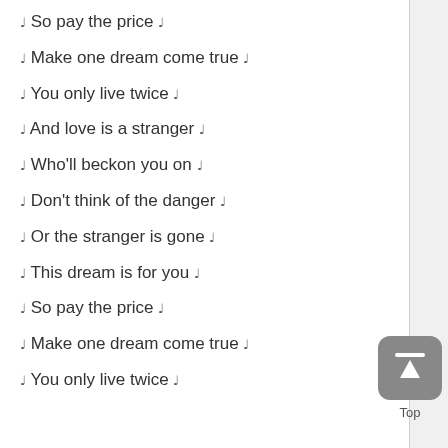♩ So pay the price ♩
♩ Make one dream come true ♩
♩ You only live twice ♩
♩ And love is a stranger ♩
♩ Who'll beckon you on ♩
♩ Don't think of the danger ♩
♩ Or the stranger is gone ♩
♩ This dream is for you ♩
♩ So pay the price ♩
♩ Make one dream come true ♩
♩ You only live twice ♩